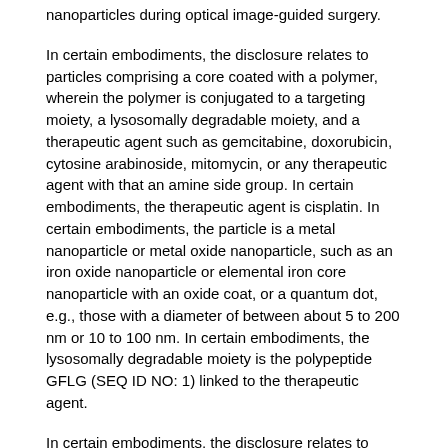nanoparticles during optical image-guided surgery.
In certain embodiments, the disclosure relates to particles comprising a core coated with a polymer, wherein the polymer is conjugated to a targeting moiety, a lysosomally degradable moiety, and a therapeutic agent such as gemcitabine, doxorubicin, cytosine arabinoside, mitomycin, or any therapeutic agent with that an amine side group. In certain embodiments, the therapeutic agent is cisplatin. In certain embodiments, the particle is a metal nanoparticle or metal oxide nanoparticle, such as an iron oxide nanoparticle or elemental iron core nanoparticle with an oxide coat, or a quantum dot, e.g., those with a diameter of between about 5 to 200 nm or 10 to 100 nm. In certain embodiments, the lysosomally degradable moiety is the polypeptide GFLG (SEQ ID NO: 1) linked to the therapeutic agent.
In certain embodiments, the disclosure relates to compositions comprising a polymer conjugated to a targeting moiety, lysosomally degradable moiety, and a therapeutic agent which are described herein.
In one example, the lysosomally degradable moiety linked to the therapeutic agent is of the formula:
[Figure (other): Embedded chemical structure image (placeholder shown as embedded image icon with text)]
or salts or derivatives thereof optionally substituted with one or more substituents.